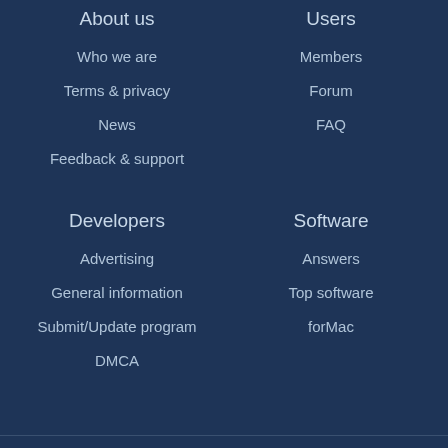About us
Who we are
Terms & privacy
News
Feedback & support
Users
Members
Forum
FAQ
Developers
Advertising
General information
Submit/Update program
DMCA
Software
Answers
Top software
forMac